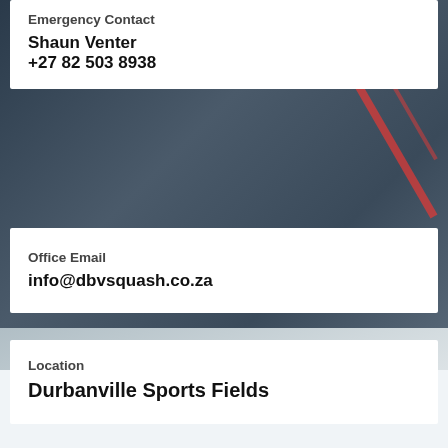Emergency Contact
Shaun Venter
+27 82 503 8938
Office Email
info@dbvsquash.co.za
Location
Durbanville Sports Fields